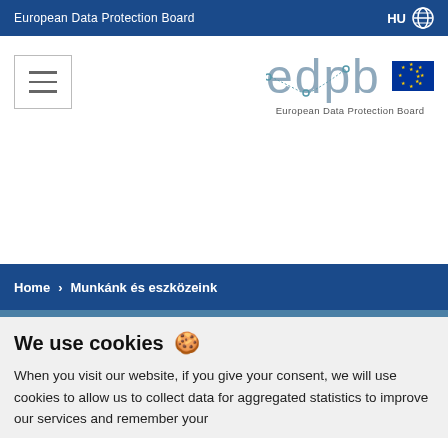European Data Protection Board  HU
[Figure (logo): EDPB logo with EU flag and text 'European Data Protection Board']
Home > Munkánk és eszközeink
We use cookies 🍪
When you visit our website, if you give your consent, we will use cookies to allow us to collect data for aggregated statistics to improve our services and remember your